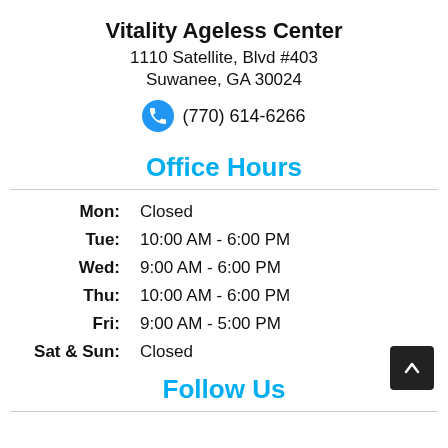Vitality Ageless Center
1110 Satellite, Blvd #403
Suwanee, GA 30024
(770) 614-6266
Office Hours
Mon: Closed
Tue: 10:00 AM - 6:00 PM
Wed: 9:00 AM - 6:00 PM
Thu: 10:00 AM - 6:00 PM
Fri: 9:00 AM - 5:00 PM
Sat & Sun: Closed
Follow Us